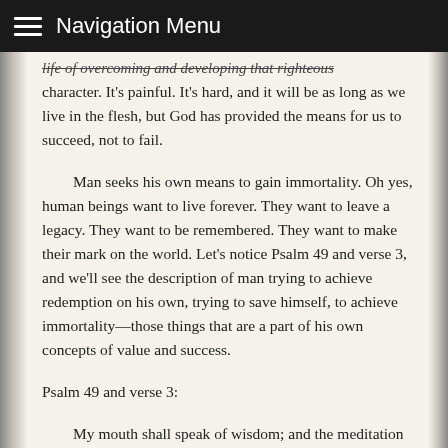Navigation Menu
life of overcoming and developing that righteous character. It's painful. It's hard, and it will be as long as we live in the flesh, but God has provided the means for us to succeed, not to fail.
Man seeks his own means to gain immortality. Oh yes, human beings want to live forever. They want to leave a legacy. They want to be remembered. They want to make their mark on the world. Let's notice Psalm 49 and verse 3, and we'll see the description of man trying to achieve redemption on his own, trying to save himself, to achieve immortality—those things that are a part of his own concepts of value and success.
Psalm 49 and verse 3:
My mouth shall speak of wisdom; and the meditation of my heart shall be of understanding. I will incline mine ear to a parable: I will open my dark saying upon the harp. Wherefore should I fear in the days of evil, when the iniquity of my heels shall compass me about? They